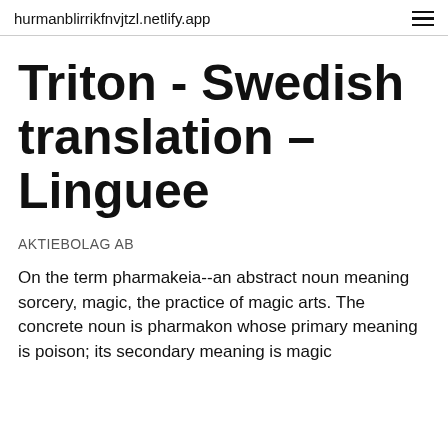hurmanblirrikfnvjtzl.netlify.app
Triton - Swedish translation – Linguee
AKTIEBOLAG AB
On the term pharmakeia--an abstract noun meaning sorcery, magic, the practice of magic arts. The concrete noun is pharmakon whose primary meaning is poison; its secondary meaning is magic